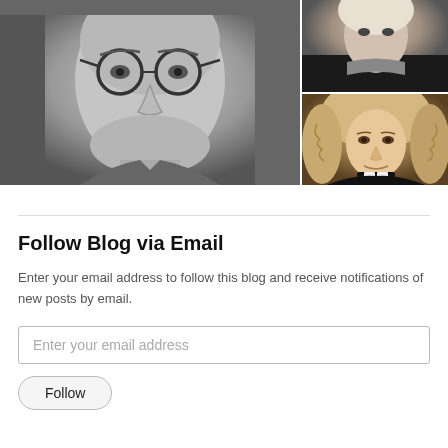[Figure (photo): Black and white close-up portrait of a man wearing round glasses, looking slightly upward. A second smaller photo in the upper right showing a woman (cropped, top portion). A third photo showing a classical painted portrait of a man with curly wig wearing clerical collar.]
Follow Blog via Email
Enter your email address to follow this blog and receive notifications of new posts by email.
Enter your email address
Follow